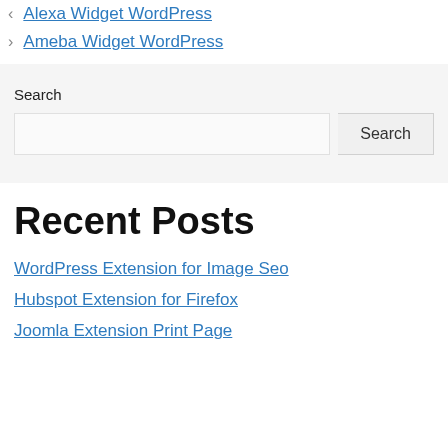< Alexa Widget WordPress
> Ameba Widget WordPress
Search
Search input and Search button
Recent Posts
WordPress Extension for Image Seo
Hubspot Extension for Firefox
Joomla Extension Print Page